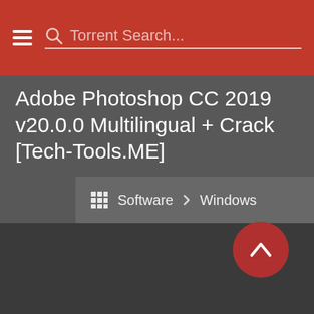Torrent Search...
Adobe Photoshop CC 2019 v20.0.0 Multilingual + Crack [Tech-Tools.ME]
Software > Windows
[Figure (other): Scroll-to-top circular red button with upward chevron arrow]